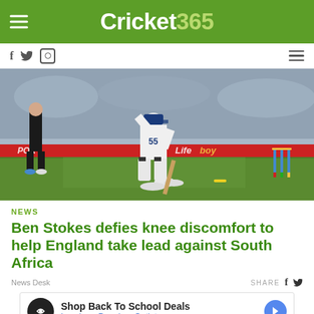Cricket365
[Figure (photo): Cricket match photo showing a batsman in white kit kneeling on the ground, an umpire in dark clothing standing nearby, with cricket stumps visible on the right and stadium crowd in the background. Red advertising banner visible in the middle.]
NEWS
Ben Stokes defies knee discomfort to help England take lead against South Africa
News Desk
SHARE
[Figure (infographic): Advertisement banner: Shop Back To School Deals - Leesburg Premium Outlets]